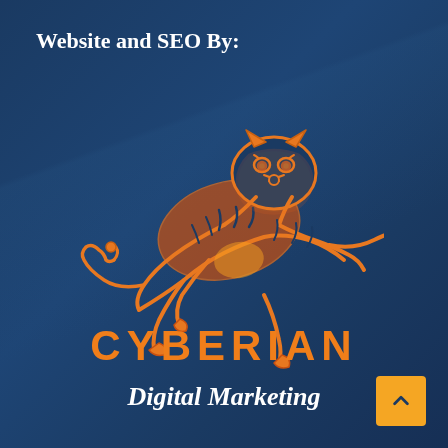Website and SEO By:
[Figure (logo): Cyberian Digital Marketing logo featuring an orange illustrated leaping/pouncing tiger on a dark blue background, with the company name CYBERIAN in large orange letters and 'Digital Marketing' in white italic text below]
CYBERIAN
Digital Marketing